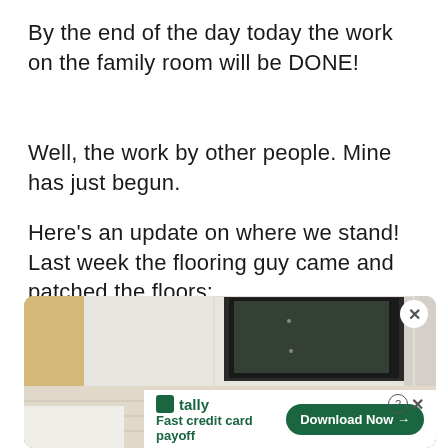By the end of the day today the work on the family room will be DONE!
Well, the work by other people. Mine has just begun.
Here’s an update on where we stand! Last week the flooring guy came and patched the floors:
[Figure (photo): Photo of a fireplace area showing flooring work, with an advertisement overlay for Tally - Fast credit card payoff with a Download Now button.]